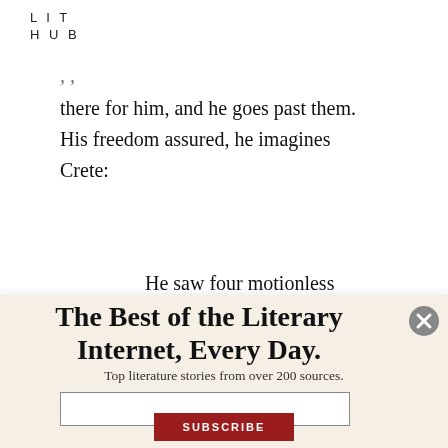LIT
HUB
there for him, and he goes past them. His freedom assured, he imagines Crete:
He saw four motionless figures standing on the [truncated]
The Best of the Literary Internet, Every Day.
Top literature stories from over 200 sources.
SUBSCRIBE